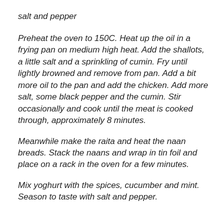salt and pepper
Preheat the oven to 150C. Heat up the oil in a frying pan on medium high heat. Add the shallots, a little salt and a sprinkling of cumin. Fry until lightly browned and remove from pan. Add a bit more oil to the pan and add the chicken. Add more salt, some black pepper and the cumin. Stir occasionally and cook until the meat is cooked through, approximately 8 minutes.
Meanwhile make the raita and heat the naan breads. Stack the naans and wrap in tin foil and place on a rack in the oven for a few minutes.
Mix yoghurt with the spices, cucumber and mint. Season to taste with salt and pepper.